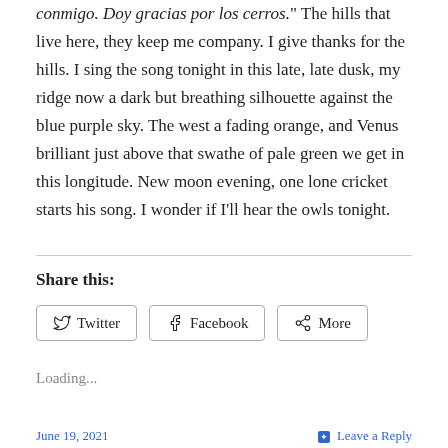conmigo. Doy gracias por los cerros." The hills that live here, they keep me company. I give thanks for the hills. I sing the song tonight in this late, late dusk, my ridge now a dark but breathing silhouette against the blue purple sky. The west a fading orange, and Venus brilliant just above that swathe of pale green we get in this longitude. New moon evening, one lone cricket starts his song. I wonder if I'll hear the owls tonight.
Share this:
Twitter | Facebook | More
Loading...
June 19, 2021   Leave a Reply